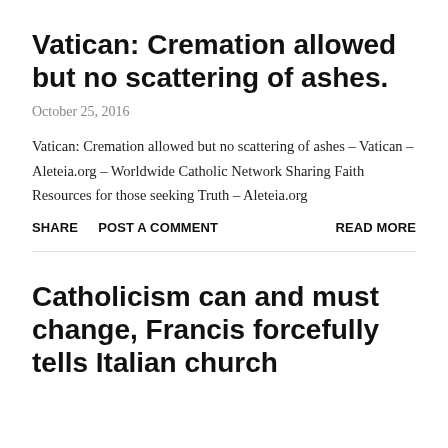Vatican: Cremation allowed but no scattering of ashes.
October 25, 2016
Vatican: Cremation allowed but no scattering of ashes – Vatican – Aleteia.org – Worldwide Catholic Network Sharing Faith Resources for those seeking Truth – Aleteia.org
SHARE   POST A COMMENT   READ MORE
Catholicism can and must change, Francis forcefully tells Italian church